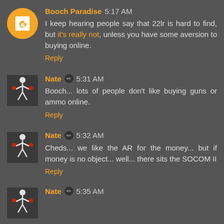Booch Paradise 5:17 AM
I keep hearing people say that 22lr is hard to find, but it's really not, unless you have some aversion to buying online.
Reply
Nate ✏ 5:31 AM
Booch... lots of people don't like buying guns or ammo online.
Reply
Nate ✏ 5:32 AM
Cheds... we like the AR for the money... but if money is no object... well... there sits the SOCOM II
Reply
Nate ✏ 5:35 AM